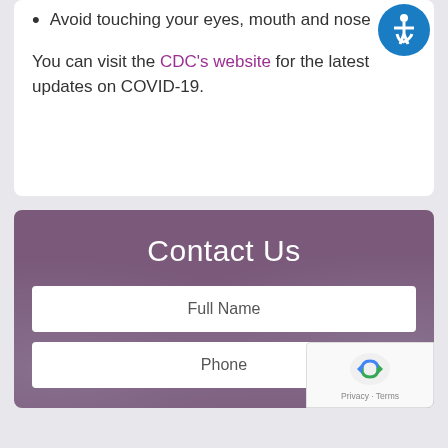Avoid touching your eyes, mouth and nose
You can visit the CDC's website for the latest updates on COVID-19.
Contact Us
Full Name
Phone